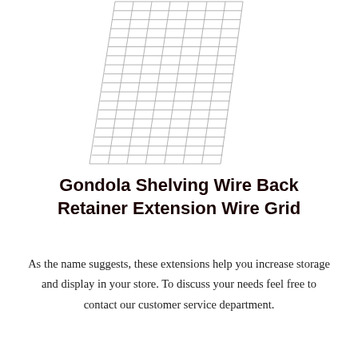[Figure (illustration): A product illustration of a wire grid panel (Gondola Shelving Wire Back Retainer Extension Wire Grid). The panel is shown in perspective/angled view, with a rectangular wire mesh grid pattern. The wires form a grid of approximately 7 columns and many rows, rendered in light gray lines on white background.]
Gondola Shelving Wire Back Retainer Extension Wire Grid
As the name suggests, these extensions help you increase storage and display in your store. To discuss your needs feel free to contact our customer service department.